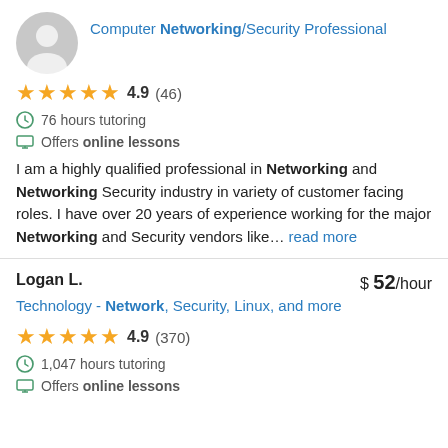Computer Networking/Security Professional
[Figure (other): User avatar silhouette icon, gray circle with person outline]
4.9 (46) — 5 stars rating
76 hours tutoring
Offers online lessons
I am a highly qualified professional in Networking and Networking Security industry in variety of customer facing roles. I have over 20 years of experience working for the major Networking and Security vendors like… read more
Logan L. — $52/hour
Technology - Network, Security, Linux, and more
4.9 (370) — 5 stars rating
1,047 hours tutoring
Offers online lessons